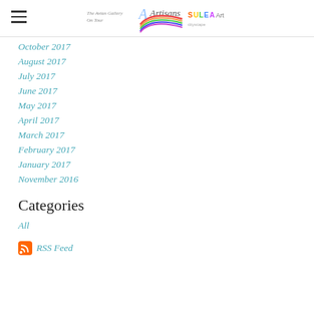[Navigation header with hamburger menu and logos: The Avian Gallery On Tour, Artisans, SULEA Art]
October 2017
August 2017
July 2017
June 2017
May 2017
April 2017
March 2017
February 2017
January 2017
November 2016
Categories
All
RSS Feed